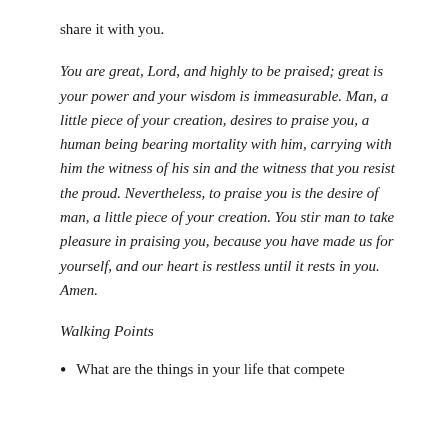share it with you.
You are great, Lord, and highly to be praised; great is your power and your wisdom is immeasurable. Man, a little piece of your creation, desires to praise you, a human being bearing mortality with him, carrying with him the witness of his sin and the witness that you resist the proud. Nevertheless, to praise you is the desire of man, a little piece of your creation. You stir man to take pleasure in praising you, because you have made us for yourself, and our heart is restless until it rests in you. Amen.
Walking Points
What are the things in your life that compete